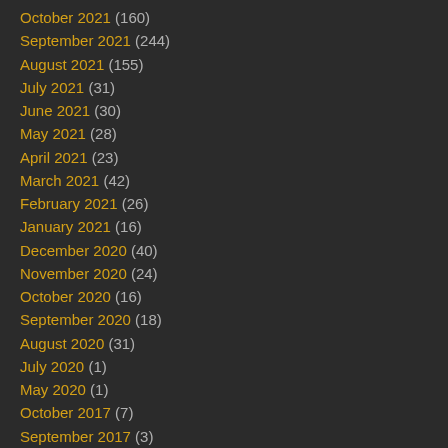October 2021 (160)
September 2021 (244)
August 2021 (155)
July 2021 (31)
June 2021 (30)
May 2021 (28)
April 2021 (23)
March 2021 (42)
February 2021 (26)
January 2021 (16)
December 2020 (40)
November 2020 (24)
October 2020 (16)
September 2020 (18)
August 2020 (31)
July 2020 (1)
May 2020 (1)
October 2017 (7)
September 2017 (3)
August 2017 (1)
March 2017 (1)